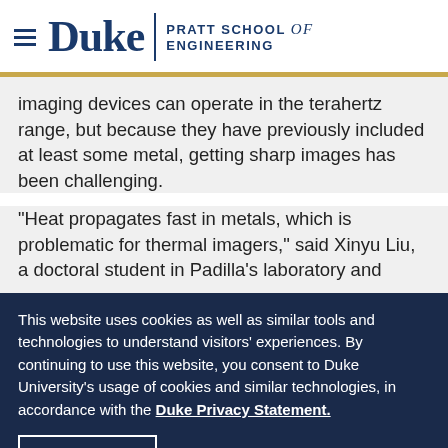Duke | PRATT SCHOOL of ENGINEERING
imaging devices can operate in the terahertz range, but because they have previously included at least some metal, getting sharp images has been challenging.
"Heat propagates fast in metals, which is problematic for thermal imagers," said Xinyu Liu, a doctoral student in Padilla's laboratory and
This website uses cookies as well as similar tools and technologies to understand visitors' experiences. By continuing to use this website, you consent to Duke University's usage of cookies and similar technologies, in accordance with the Duke Privacy Statement.
I ACCEPT »